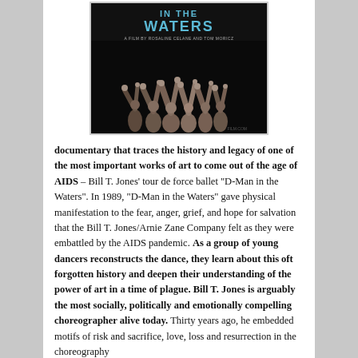[Figure (photo): Movie poster for 'D-Man in the Waters' film, showing dancers with arms raised in dark background. Text reads 'IN THE WATERS' in teal/blue letters.]
documentary that traces the history and legacy of one of the most important works of art to come out of the age of AIDS – Bill T. Jones' tour de force ballet "D-Man in the Waters". In 1989, "D-Man in the Waters" gave physical manifestation to the fear, anger, grief, and hope for salvation that the Bill T. Jones/Arnie Zane Company felt as they were embattled by the AIDS pandemic. As a group of young dancers reconstructs the dance, they learn about this oft forgotten history and deepen their understanding of the power of art in a time of plague. Bill T. Jones is arguably the most socially, politically and emotionally compelling choreographer alive today. Thirty years ago, he embedded motifs of risk and sacrifice, love, loss and resurrection in the choreography